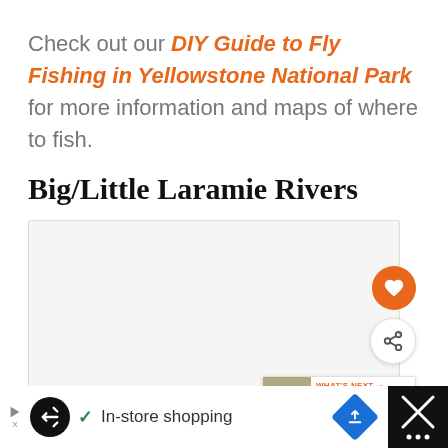Check out our DIY Guide to Fly Fishing in Yellowstone National Park for more information and maps of where to fish.
Big/Little Laramie Rivers
[Figure (map): Embedded map area (blank/loading state) for Big/Little Laramie Rivers with floating heart and share buttons and a What's Next panel showing Pricing Plans · DIY Fly...]
WHAT'S NEXT → Pricing Plans · DIY Fly...
In-store shopping